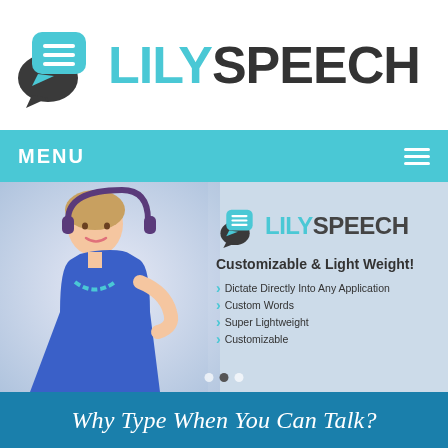[Figure (logo): LilySpeech logo with two speech bubble icons (dark and teal) and the text LILY in teal and SPEECH in dark gray]
[Figure (screenshot): Website screenshot showing LilySpeech app homepage with a woman wearing headphones and blue dress, the LilySpeech logo, tagline 'Customizable & Light Weight!' and feature list: Dictate Directly Into Any Application, Custom Words, Super Lightweight, Customizable]
Why Type When You Can Talk?